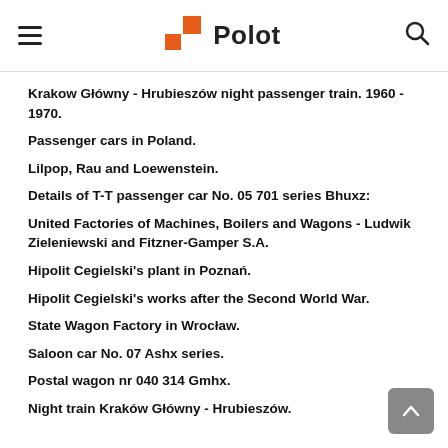≡  Polot  🔍
Krakow Główny - Hrubieszów night passenger train. 1960 - 1970.
Passenger cars in Poland.
Lilpop, Rau and Loewenstein.
Details of T-T passenger car No. 05 701 series Bhuxz:
United Factories of Machines, Boilers and Wagons - Ludwik Zieleniewski and Fitzner-Gamper S.A.
Hipolit Cegielski's plant in Poznań.
Hipolit Cegielski's works after the Second World War.
State Wagon Factory in Wrocław.
Saloon car No. 07 Ashx series.
Postal wagon nr 040 314 Gmhx.
Night train Kraków Główny - Hrubieszów.